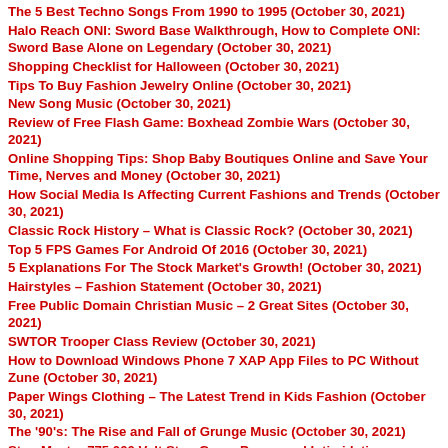The 5 Best Techno Songs From 1990 to 1995 (October 30, 2021)
Halo Reach ONI: Sword Base Walkthrough, How to Complete ONI: Sword Base Alone on Legendary (October 30, 2021)
Shopping Checklist for Halloween (October 30, 2021)
Tips To Buy Fashion Jewelry Online (October 30, 2021)
New Song Music (October 30, 2021)
Review of Free Flash Game: Boxhead Zombie Wars (October 30, 2021)
Online Shopping Tips: Shop Baby Boutiques Online and Save Your Time, Nerves and Money (October 30, 2021)
How Social Media Is Affecting Current Fashions and Trends (October 30, 2021)
Classic Rock History – What is Classic Rock? (October 30, 2021)
Top 5 FPS Games For Android Of 2016 (October 30, 2021)
5 Explanations For The Stock Market's Growth! (October 30, 2021)
Hairstyles – Fashion Statement (October 30, 2021)
Free Public Domain Christian Music – 2 Great Sites (October 30, 2021)
SWTOR Trooper Class Review (October 30, 2021)
How to Download Windows Phone 7 XAP App Files to PC Without Zune (October 30, 2021)
Paper Wings Clothing – The Latest Trend in Kids Fashion (October 30, 2021)
The '90's: The Rise and Fall of Grunge Music (October 30, 2021)
Stun Master 775,000 Volt Stun Gun – Power and Intimidation (October